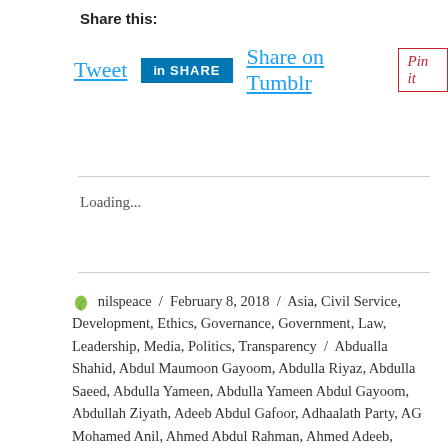Share this:
[Figure (screenshot): Social share buttons: Tweet (Twitter), LinkedIn Share, Share on Tumblr, Pinterest Pin it]
Loading...
nilspeace / February 8, 2018 / Asia, Civil Service, Development, Ethics, Governance, Government, Law, Leadership, Media, Politics, Transparency / Abdualla Shahid, Abdul Maumoon Gayoom, Abdulla Riyaz, Abdulla Saeed, Abdulla Yameen, Abdulla Yameen Abdul Gayoom, Abdullah Ziyath, Adeeb Abdul Gafoor, Adhaalath Party, AG Mohamed Anil, Ahmed Abdul Rahman, Ahmed Adeeb, Ahmed Faris Maumoon, Ahmed Mohamed, Ahmed Nihan, Ahmed Riyaz, Al-...